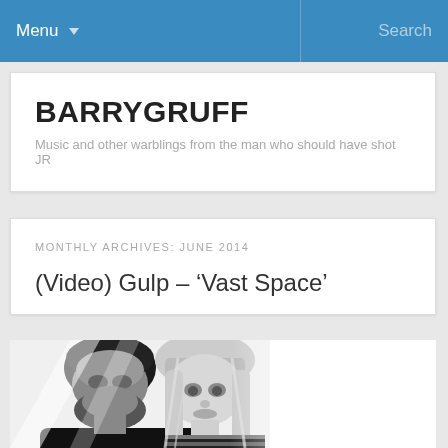Menu ▼   Search
BARRYGRUFF
Music and other warblings from the man who should have shot JR
MONTHLY ARCHIVES: JUNE 2014
(Video) Gulp – 'Vast Space'
[Figure (photo): Black and white photo of two people, a man with a beard on the left and a woman with blonde hair on the right, both looking toward the camera]